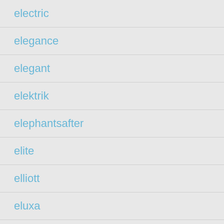electric
elegance
elegant
elektrik
elephantsafter
elite
elliott
eluxa
embellished
embellishing
emerica
enamel
engagment